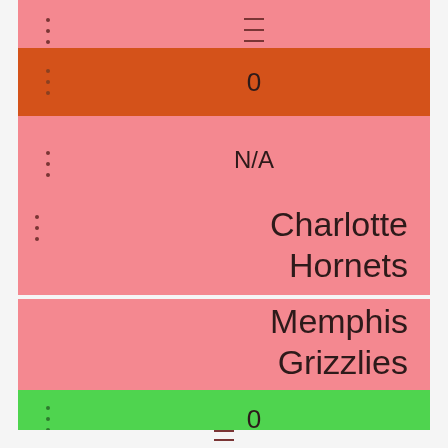0
N/A
Charlotte Hornets
0
Memphis Grizzlies
N/A
0